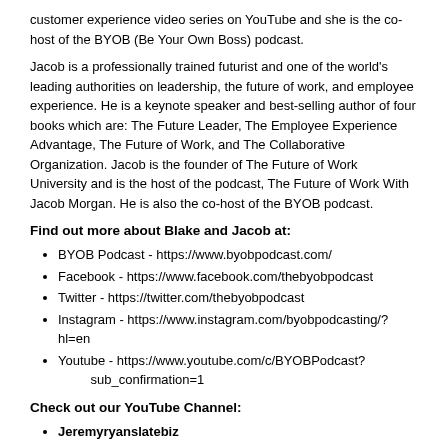customer experience video series on YouTube and she is the co-host of the BYOB (Be Your Own Boss) podcast.
Jacob is a professionally trained futurist and one of the world's leading authorities on leadership, the future of work, and employee experience. He is a keynote speaker and best-selling author of four books which are: The Future Leader, The Employee Experience Advantage, The Future of Work, and The Collaborative Organization. Jacob is the founder of The Future of Work University and is the host of the podcast, The Future of Work With Jacob Morgan. He is also the co-host of the BYOB podcast.
Find out more about Blake and Jacob at:
BYOB Podcast - https://www.byobpodcast.com/
Facebook - https://www.facebook.com/thebyobpodcast
Twitter - https://twitter.com/thebyobpodcast
Instagram - https://www.instagram.com/byobpodcasting/?hl=en
Youtube - https://www.youtube.com/c/BYOBPodcast?sub_confirmation=1
Check out our YouTube Channel:
Jeremyryanslatebiz
Make Extraordinary a reality:
jeremyryanslate.com/extraordinary